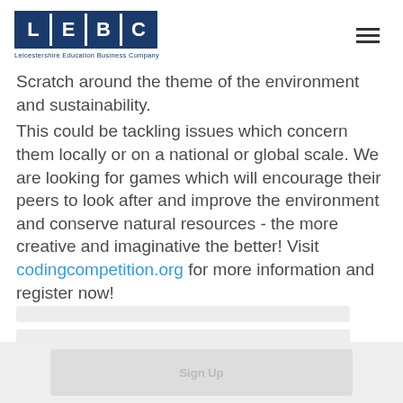[Figure (logo): LEBC logo — Leicestershire Education Business Company, navy blue block letters L, E, B, C in individual boxes with white dividers]
Scratch around the theme of the environment and sustainability.
This could be tackling issues which concern them locally or on a national or global scale. We are looking for games which will encourage their peers to look after and improve the environment and conserve natural resources - the more creative and imaginative the better! Visit codingcompetition.org for more information and register now!